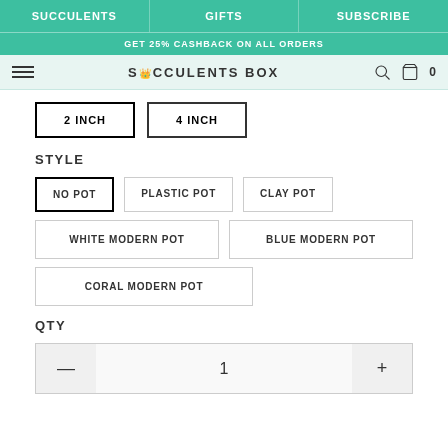SUCCULENTS | GIFTS | SUBSCRIBE
GET 25% CASHBACK ON ALL ORDERS
SUCCULENTS BOX
2 INCH
4 INCH
STYLE
NO POT
PLASTIC POT
CLAY POT
WHITE MODERN POT
BLUE MODERN POT
CORAL MODERN POT
QTY
1